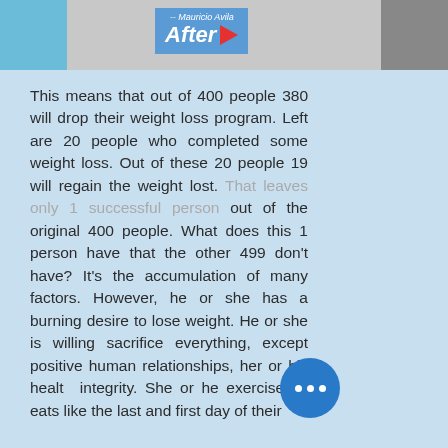[Figure (photo): Top banner showing a before/after weight loss image with 'After' label and play button triangle, attributed to Mauricio Avila]
This means that out of 400 people 380 will drop their weight loss program. Left are 20 people who completed some weight loss. Out of these 20 people 19 will regain the weight lost. That leaves only 1 successful person out of the original 400 people. What does this 1 person have that the other 499 don't have? It's the accumulation of many factors. However, he or she has a burning desire to lose weight. He or she is willing sacrifice everything, except positive human relationships, her or his healt[h and] integrity. She or he exercises [and] eats like the last and first day of their
[Figure (photo): Right side panel showing gym/fitness group photo with people exercising]